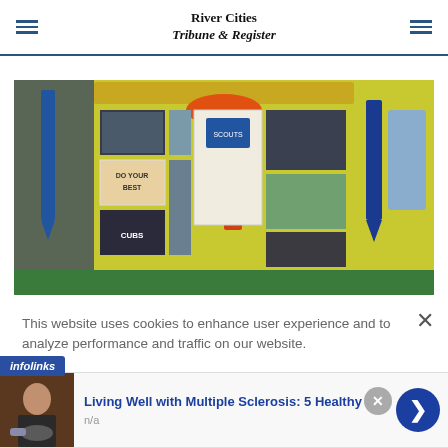River Cities Tribune & Register
[Figure (photo): Cub Scouts display board with ribbons, photos, and 'DO YOUR BEST' and 'CUBS' text, featuring orange and blue award ribbons.]
This website uses cookies to enhance user experience and to analyze performance and traffic on our website.
[Figure (infographic): Infolinks advertisement banner showing 'Living Well with Multiple Sclerosis: 5 Healthy' with a thumbnail of a person with yoga mat and n/a label.]